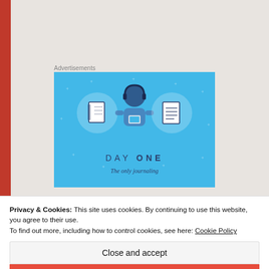Advertisements
[Figure (illustration): Day One journaling app advertisement on blue background with illustrated person holding phone, flanked by notebook and document icons in circular frames. Text reads 'DAY ONE' and 'The only journaling']
We have every opportunity to know the Lord and
Privacy & Cookies: This site uses cookies. By continuing to use this website, you agree to their use.
To find out more, including how to control cookies, see here: Cookie Policy
Close and accept